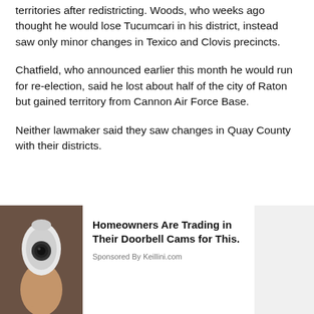territories after redistricting. Woods, who weeks ago thought he would lose Tucumcari in his district, instead saw only minor changes in Texico and Clovis precincts.
Chatfield, who announced earlier this month he would run for re-election, said he lost about half of the city of Raton but gained territory from Cannon Air Force Base.
Neither lawmaker said they saw changes in Quay County with their districts.
[Figure (photo): Hand holding a white security camera device, shown from below against a dark background. Part of an advertisement.]
Homeowners Are Trading in Their Doorbell Cams for This.
Sponsored By Keillini.com